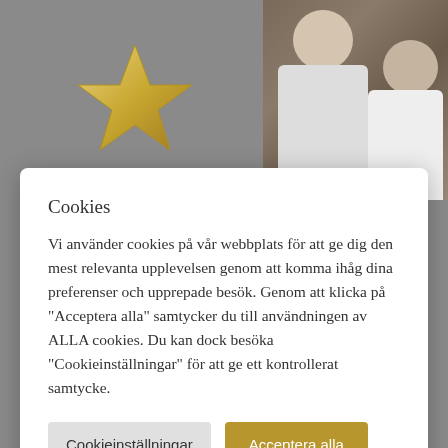[Figure (photo): Website screenshot with cookie consent dialog. Background shows grey overlay with a gold star cookie on the left and a person photograph on the upper right. A white modal dialog box contains cookie consent text in Swedish with two buttons.]
Cookies
Vi använder cookies på vår webbplats för att ge dig den mest relevanta upplevelsen genom att komma ihåg dina preferenser och upprepade besök. Genom att klicka på "Acceptera alla" samtycker du till användningen av ALLA cookies. Du kan dock besöka "Cookieinställningar" för att ge ett kontrollerat samtycke.
Cookieinställningar | Acceptera alla
[Figure (illustration): UK flag (Union Jack) and Swedish flag icons at bottom right corner]